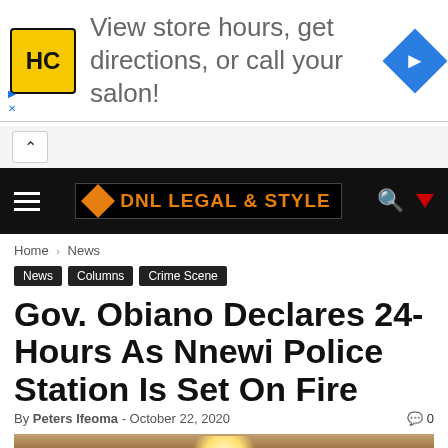[Figure (other): Advertisement banner: HC salon logo, text 'View store hours, get directions, or call your salon!', navigation arrow icon]
DNL LEGAL & STYLE
Home › News
News
Columns
Crime Scene
Gov. Obiano Declares 24-Hours As Nnewi Police Station Is Set On Fire
By Peters Ifeoma - October 22, 2020   0
[Figure (photo): Partial photo of a person, warm ambient lighting with lamp visible]